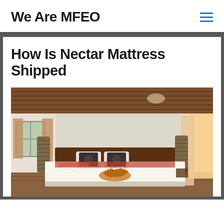We Are MFEO
How Is Nectar Mattress Shipped
[Figure (photo): Interior bedroom photo showing a low platform bed with white bedding, dark decorative pillows, a decorative bird motif, cylindrical woven lamps on either side, wooden ceiling planks, white walls, curtains by windows, and natural light coming from the right.]